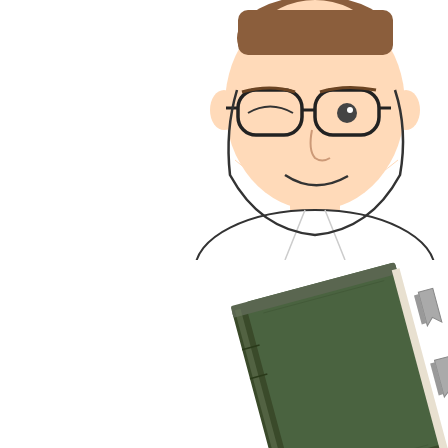[Figure (illustration): Cartoon illustration of a man with glasses and short brown hair, smiling, wearing a white shirt. Below is an illustration of a dark green book with bookmarks/tabs sticking out.]
Hence, the Co Kulturforum.
Want to pose a Support for th
Snag Ken and
In Unknown A heroically bro arrival of the g
Want to plung introduce a fri your rescue! F title, Cthulhu